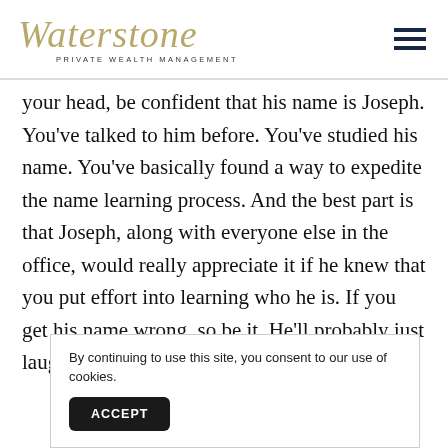Waterstone Private Wealth Management
your head, be confident that his name is Joseph. You've talked to him before. You've studied his name. You've basically found a way to expedite the name learning process. And the best part is that Joseph, along with everyone else in the office, would really appreciate it if he knew that you put effort into learning who he is. If you get his name wrong, so be it. He'll probably just laugh and correct you saying, “Ha! That’s th... D... b...
By continuing to use this site, you consent to our use of cookies.
ACCEPT